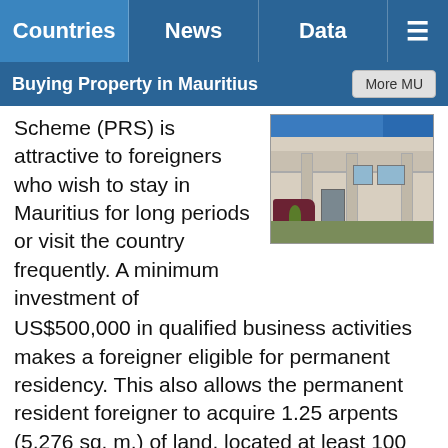Countries | News | Data | ≡
Buying Property in Mauritius | More MU
Scheme (PRS) is attractive to foreigners who wish to stay in Mauritius for long periods or visit the country frequently. A minimum investment of US$500,000 in qualified business activities makes a foreigner eligible for permanent residency. This also allows the permanent resident foreigner to acquire 1.25 arpents (5,276 sq. m.) of land, located at least 100 metres away from the seafront for residential purposes.
[Figure (photo): Exterior photo of a white colonial-style building with pillars, balcony, and a dark car in the foreground, with green foliage visible.]
Under the Integrated Resort Scheme (IRS),